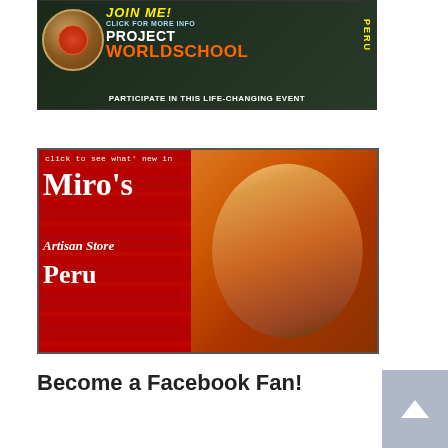[Figure (photo): Project WorldSchool Peru banner advertisement with dark green background, circular food image, orange and white text reading PROJECT WORLDSCHOOL PERU, and tagline PARTICIPATE IN THIS LIFE-CHANGING EVENT]
[Figure (photo): Miro's Artisan Store Peru advertisement banner with red background, white text, and a photo of a young woman wearing a hat and backpack against colorful striped textiles]
Become a Facebook Fan!